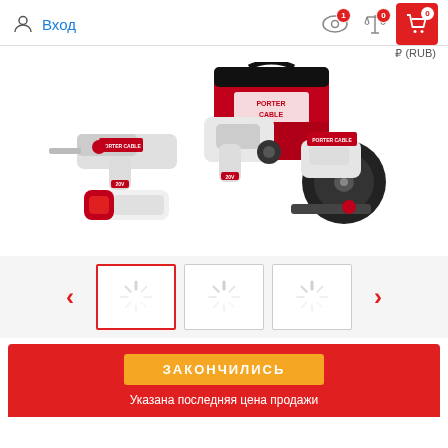Вход
[Figure (photo): Porter-Cable 20V cordless power tool set including reciprocating saw, drill/driver, circular saw, flashlight, and red Porter-Cable tool bag]
[Figure (other): Thumbnail image carousel with navigation arrows, three loading spinner thumbnails, first one selected with red border]
ЗАКОНЧИЛИСЬ
Указана последняя цена продажи